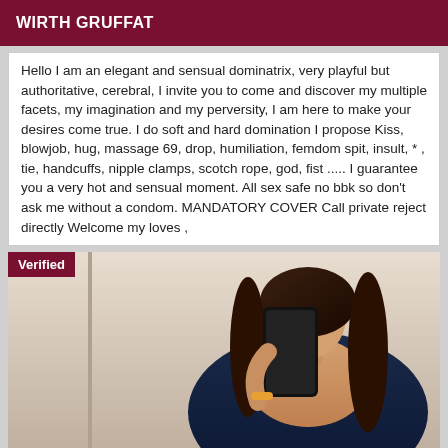WIRTH GRUFFAT
Hello I am an elegant and sensual dominatrix, very playful but authoritative, cerebral, I invite you to come and discover my multiple facets, my imagination and my perversity, I am here to make your desires come true. I do soft and hard domination I propose Kiss, blowjob, hug, massage 69, drop, humiliation, femdom spit, insult, * , tie, handcuffs, nipple clamps, scotch rope, god, fist ..... I guarantee you a very hot and sensual moment. All sex safe no bbk so don't ask me without a condom. MANDATORY COVER Call private reject directly Welcome my loves ,
[Figure (photo): Woman taking a mirror selfie wearing a dark blue outfit, holding a black smartphone. Long dark curly hair. 'Verified' badge in top left corner.]